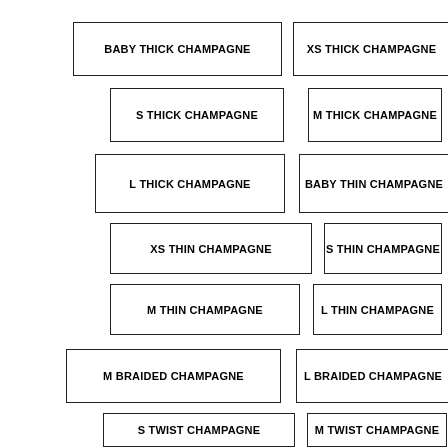BABY THICK CHAMPAGNE
XS THICK CHAMPAGNE
S THICK CHAMPAGNE
M THICK CHAMPAGNE
L THICK CHAMPAGNE
BABY THIN CHAMPAGNE
XS THIN CHAMPAGNE
S THIN CHAMPAGNE
M THIN CHAMPAGNE
L THIN CHAMPAGNE
M BRAIDED CHAMPAGNE
L BRAIDED CHAMPAGNE
S TWIST CHAMPAGNE
M TWIST CHAMPAGNE